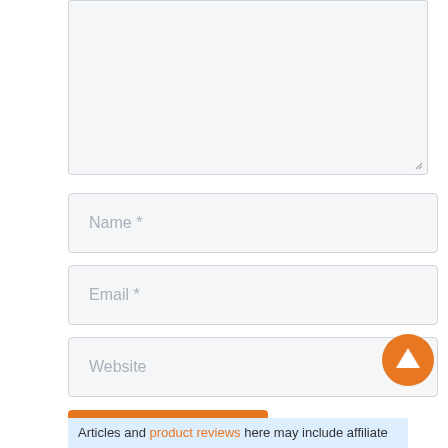[Figure (screenshot): Comment form textarea (large input box, light gray background with resize handle)]
Name *
Email *
Website
Post Comment
[Figure (other): Orange circle scroll-to-top arrow button]
Articles and product reviews here may include affiliate